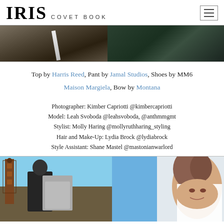IRIS COVET BOOK
[Figure (photo): Partial fashion editorial photos at top — dark toned outdoor scene left, dark green/forest scene right]
Top by Harris Reed, Pant by Jamal Studios, Shoes by MM6 Maison Margiela, Bow by Montana
Photographer: Kimber Capriotti @kimbercapriotti
Model: Leah Svoboda @leahsvoboda, @anthmmgmt
Stylist: Molly Haring @mollyruthharing_styling
Hair and Make-Up: Lydia Brock @lydiabrock
Style Assistant: Shane Mastel @mastonianwarlord
[Figure (photo): Two fashion editorial photos: left shows model near decorative lantern post with silver jacket against blue sky; right shows close-up of model's face wrapped in white fabric with intense gaze against blue sky]